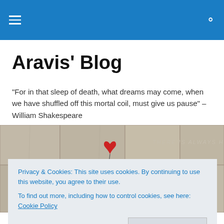Aravis' Blog — navigation header bar
Aravis' Blog
"For in that sleep of death, what dreams may come, when we have shuffled off this mortal coil, must give us pause" – William Shakespeare
[Figure (photo): Banksy street art of a girl reaching toward a red heart-shaped balloon against a concrete wall. Text on wall reads 'THERE IS ALWAYS HOPE'.]
Privacy & Cookies: This site uses cookies. By continuing to use this website, you agree to their use.
To find out more, including how to control cookies, see here: Cookie Policy
Close and accept
more socks